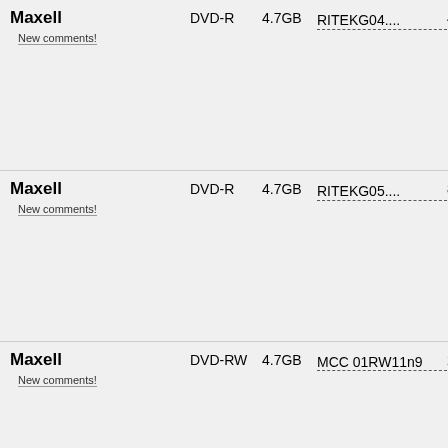| Brand | Type | Size | Code | Speed | Info |
| --- | --- | --- | --- | --- | --- |
| Maxell | DVD-R | 4.7GB | RITEKG04.... | 4x | Plays
Plays
Burn
DVD
PC R
Cons |
| Maxell | DVD-R | 4.7GB | RITEKG05.... | 8x | Plays
Plays
Burn
DVD
PC R
Cons |
| Maxell | DVD-RW | 4.7GB | MCC 01RW11n9 | 2x | Plays
Plays
Burn
DVD
PC R
Cons |
| Maxell | DVD+R | 4.7GB | MAXELL..002 | 8x | Plays
Plays
Burn
DVD |